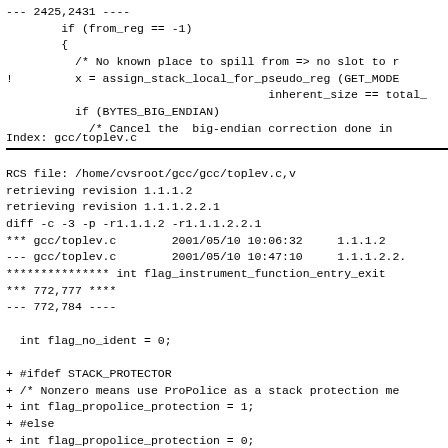--- 2425,2431 ----
        if (from_reg == -1)
        {
          /* No known place to spill from => no slot to r
!         x = assign_stack_local_for_pseudo_reg (GET_MODE
                                      inherent_size == total_
          if (BYTES_BIG_ENDIAN)
            /* Cancel the  big-endian correction done in
Index: gcc/toplev.c
RCS file: /home/cvsroot/gcc/gcc/toplev.c,v
retrieving revision 1.1.1.2
retrieving revision 1.1.1.2.2.1
diff -c -3 -p -r1.1.1.2 -r1.1.1.2.2.1
*** gcc/toplev.c        2001/05/10 10:06:32     1.1.1.2
--- gcc/toplev.c        2001/05/10 10:47:10     1.1.1.2.2
*************** int flag_instrument_function_entry_exit
*** 772,777 ****
--- 772,784 ----

  int flag_no_ident = 0;

+ #ifdef STACK_PROTECTOR
+ /* Nonzero means use ProPolice as a stack protection me
+ int flag_propolice_protection = 1;
+ #else
+ int flag_propolice_protection = 0;
+ #endif
+
  /* Table of supported debugging formats.  */